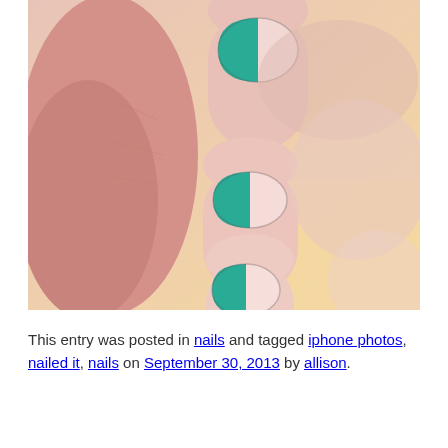[Figure (photo): Close-up photograph of a hand with nails painted in a two-tone design: teal/turquoise on the left half and light pink on the right half of each nail. Three fingers are visible, showing the geometric nail art against skin tones and a pale yellow background.]
This entry was posted in nails and tagged iphone photos, nailed it, nails on September 30, 2013 by allison.